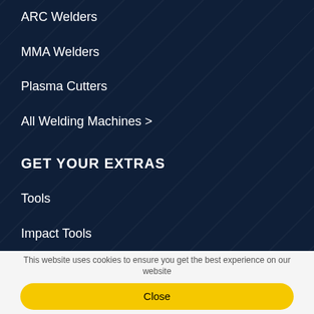ARC Welders
MMA Welders
Plasma Cutters
All Welding Machines >
GET YOUR EXTRAS
Tools
Impact Tools
Battery Power Tools
Tool Storage
This website uses cookies to ensure you get the best experience on our website
Close